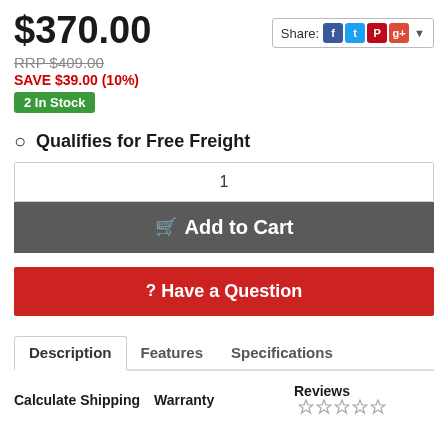$370.00
RRP $409.00
SAVE $39.00 (10%)
2 In Stock
[Figure (infographic): Share buttons: Facebook, Twitter, Pinterest, Google+, with dropdown arrow]
Qualifies for Free Freight
1
Add to Cart
? Have a Question
Description
Features
Specifications
Calculate Shipping
Warranty
Reviews ☆☆☆☆☆